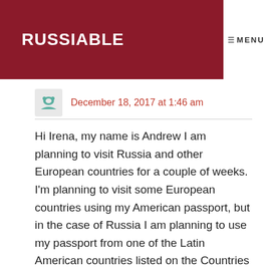RUSSIABLE
MENU
December 18, 2017 at 1:46 am
Hi Irena, my name is Andrew I am planning to visit Russia and other European countries for a couple of weeks. I'm planning to visit some European countries using my American passport, but in the case of Russia I am planning to use my passport from one of the Latin American countries listed on the Countries with visa-free travel to